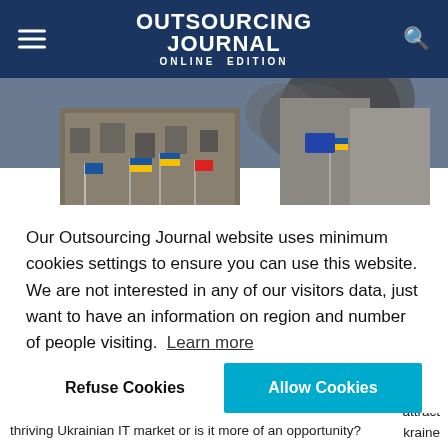OUTSOURCING JOURNAL ONLINE EDITION
[Figure (photo): Large crowd of protesters with Ukrainian flags in front of a partially destroyed building with smoke in the background — Maidan protest scene in Ukraine]
Our Outsourcing Journal website uses minimum cookies settings to ensure you can use this website. We are not interested in any of our visitors data, just want to have an information on region and number of people visiting.  Learn more
Refuse Cookies   Allow Cookies
...ne fits ...ion ...t ...rth ...attract ...kraine ...to the thriving Ukrainian IT market or is it more of an opportunity?